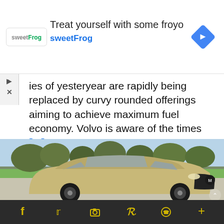[Figure (screenshot): Advertisement banner for sweetFrog frozen yogurt. Logo on left showing 'sweetFrog' branding, headline 'Treat yourself with some froyo', blue link text 'sweetFrog', and a blue navigation arrow diamond icon on the right.]
ies of yesteryear are rapidly being replaced by curvy rounded offerings aiming to achieve maximum fuel economy. Volvo is aware of the times [...]
[Figure (photo): Outdoor photo of a tan/beige Mazda CX-50 SUV parked on a driveway, photographed from a front three-quarter angle. Background shows green grass and bare trees under a blue sky.]
Social sharing icons: Facebook, Twitter, Share, Pinterest, WhatsApp, More (+)